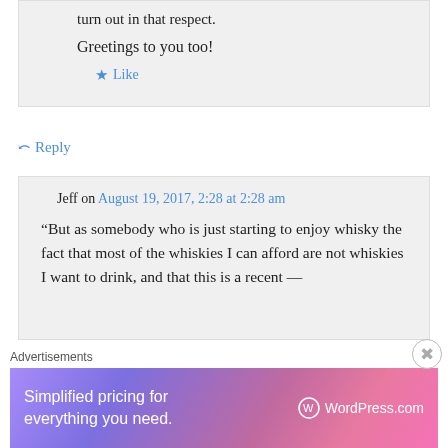turn out in that respect.
Greetings to you too!
Like
Reply
Jeff on August 19, 2017, 2:28 at 2:28 am
“But as somebody who is just starting to enjoy whisky the fact that most of the whiskies I can afford are not whiskies I want to drink, and that this is a recent —
Advertisements
[Figure (infographic): WordPress.com advertisement banner: 'Simplified pricing for everything you need.' with WordPress.com logo on gradient purple-pink background]